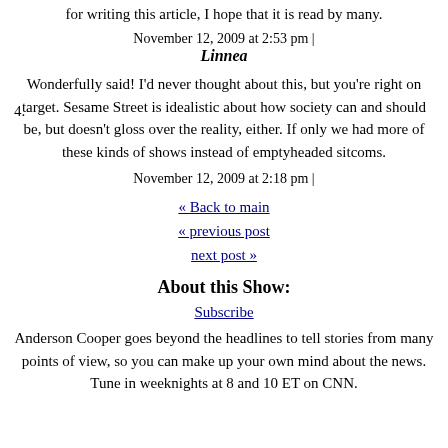for writing this article, I hope that it is read by many.
November 12, 2009 at 2:53 pm |
4.   Linnea
Wonderfully said! I'd never thought about this, but you're right on target. Sesame Street is idealistic about how society can and should be, but doesn't gloss over the reality, either. If only we had more of these kinds of shows instead of emptyheaded sitcoms.
November 12, 2009 at 2:18 pm |
« Back to main
« previous post
next post »
About this Show:
Subscribe
Anderson Cooper goes beyond the headlines to tell stories from many points of view, so you can make up your own mind about the news. Tune in weeknights at 8 and 10 ET on CNN.